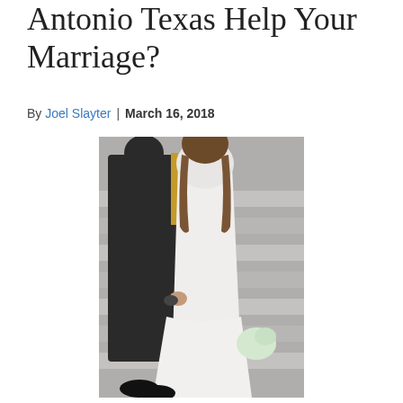Antonio Texas Help Your Marriage?
By Joel Slayter | March 16, 2018
[Figure (photo): A couple in wedding attire standing on outdoor stone steps. The bride is in a white lace long-sleeve gown holding a small bouquet, and the groom is in a dark suit. They are viewed from behind/side, holding hands.]